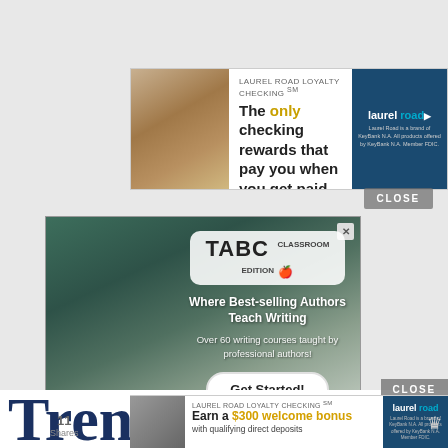[Figure (other): Laurel Road Loyalty Checking banner ad: woman photo, text 'The only checking rewards that pay you when you get paid.', Laurel Road logo]
[Figure (other): TABC Classroom Edition ad: two students reading, logo badge, text 'Where Best-selling Authors Teach Writing', 'Over 60 writing courses taught by professional authors!', Get Started button]
Trending Now
[Figure (other): Laurel Road Loyalty Checking bottom banner: 'Earn a $300 welcome bonus with qualifying direct deposits']
CLOSE
CLOSE
11 Shares